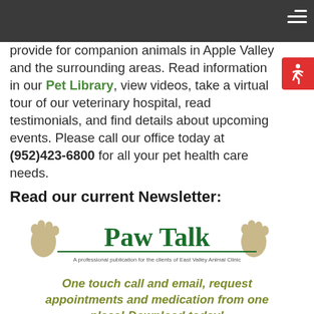provide for companion animals in Apple Valley and the surrounding areas. Read information in our Pet Library, view videos, take a virtual tour of our veterinary hospital, read testimonials, and find details about upcoming events. Please call our office today at (952)423-6800 for all your pet health care needs.
Read our current Newsletter:
[Figure (logo): Paw Talk newsletter logo with paw print graphics and subtitle: A professional publication for the clients of East Valley Animal Clinic]
One touch call and email, request appointments and medication from one place! Download today!